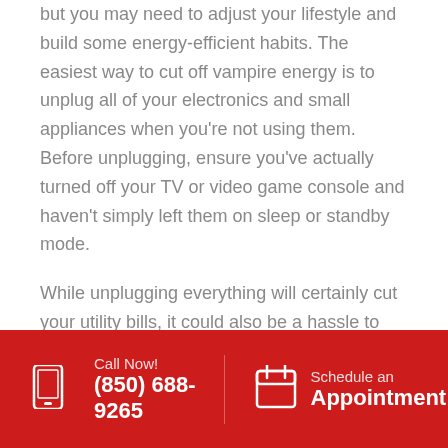but you may need to adjust your lifestyle and build some energy-efficient habits. The easiest way to cut off vampire energy is to unplug all of your electronics and small appliances when you're not using them. Before unplugging, ensure you've actually turned off your TV or video game console and haven't simply left them on sleep or standby mode.
While unplugging everything will certainly cut your utility bills, it could also be a hassle to unplug your TV and plug it back in just to flip it on for a few minutes. Instead, consider plugging all your power
Call Now! (850) 688-9265 | Schedule an Appointment